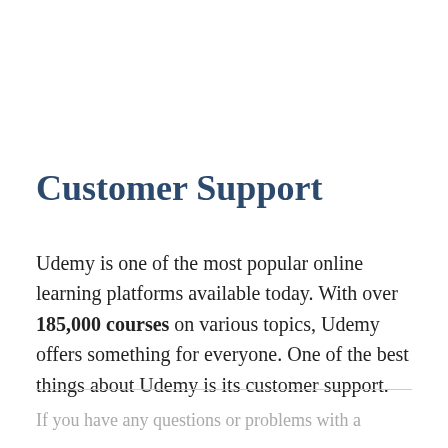Customer Support
Udemy is one of the most popular online learning platforms available today. With over 185,000 courses on various topics, Udemy offers something for everyone. One of the best things about Udemy is its customer support.
If you have any questions or problems with a